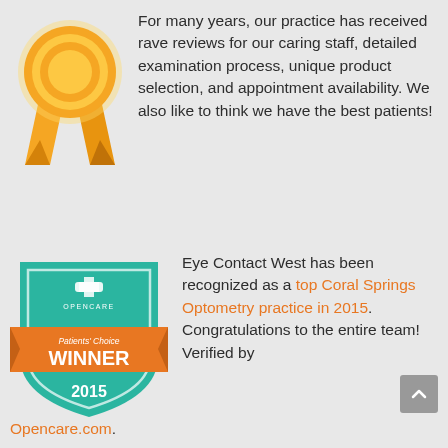[Figure (illustration): Gold award medal/ribbon icon]
For many years, our practice has received rave reviews for our caring staff, detailed examination process, unique product selection, and appointment availability. We also like to think we have the best patients!
[Figure (logo): Opencare Patients' Choice WINNER 2015 badge - teal shield shape with orange ribbon banner]
Eye Contact West has been recognized as a top Coral Springs Optometry practice in 2015. Congratulations to the entire team! Verified by Opencare.com.